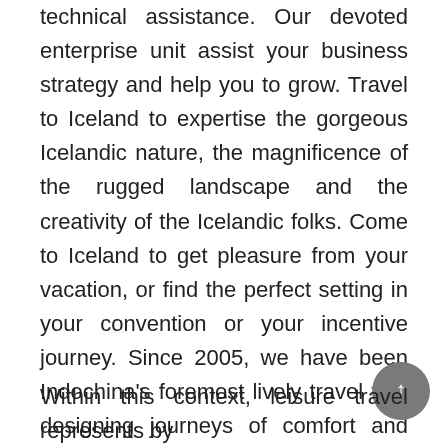technical assistance. Our devoted enterprise unit assist your business strategy and help you to grow. Travel to Iceland to expertise the gorgeous Icelandic nature, the magnificence of the rugged landscape and the creativity of the Icelandic folks. Come to Iceland to get pleasure from your vacation, or find the perfect setting in your convention or your incentive journey. Since 2005, we have been Indochina's foremost lively travel firm designing journeys of comfort and authenticity to essentially the most wonderful destinations in Vietnam, Laos, Cambodia, Myanmar and Thailand. We asked some of the most influential individuals in Asia's travel industry for their this-year bucket list.
Within this context, leisure travel represents by